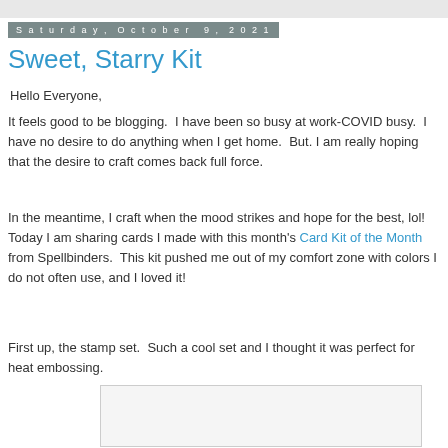Saturday, October 9, 2021
Sweet, Starry Kit
Hello Everyone,
It feels good to be blogging.  I have been so busy at work-COVID busy.  I have no desire to do anything when I get home.  But. I am really hoping that the desire to craft comes back full force.
In the meantime, I craft when the mood strikes and hope for the best, lol!  Today I am sharing cards I made with this month's Card Kit of the Month from Spellbinders.  This kit pushed me out of my comfort zone with colors I do not often use, and I loved it!
First up, the stamp set.  Such a cool set and I thought it was perfect for heat embossing.
[Figure (photo): Partial view of a craft/card image at the bottom of the page]